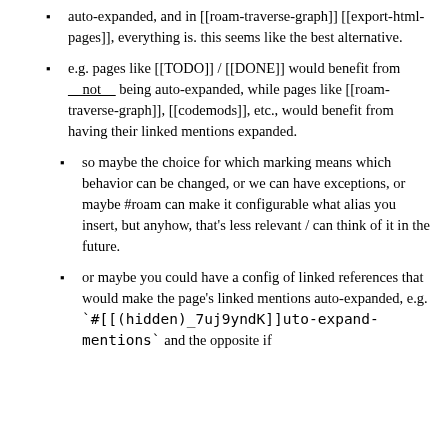auto-expanded, and in [[roam-traverse-graph]] [[export-html-pages]], everything is. this seems like the best alternative.
e.g. pages like [[TODO]] / [[DONE]] would benefit from __not__ being auto-expanded, while pages like [[roam-traverse-graph]], [[codemods]], etc., would benefit from having their linked mentions expanded.
so maybe the choice for which marking means which behavior can be changed, or we can have exceptions, or maybe #roam can make it configurable what alias you insert, but anyhow, that's less relevant / can think of it in the future.
or maybe you could have a config of linked references that would make the page's linked mentions auto-expanded, e.g. `#[[(hidden)_7uj9yndK]]uto-expand-mentions` and the opposite if